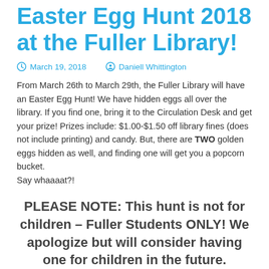Easter Egg Hunt 2018 at the Fuller Library!
March 19, 2018   Daniell Whittington
From March 26th to March 29th, the Fuller Library will have an Easter Egg Hunt! We have hidden eggs all over the library. If you find one, bring it to the Circulation Desk and get your prize! Prizes include: $1.00-$1.50 off library fines (does not include printing) and candy. But, there are TWO golden eggs hidden as well, and finding one will get you a popcorn bucket.
Say whaaaat?!
PLEASE NOTE: This hunt is not for children – Fuller Students ONLY! We apologize but will consider having one for children in the future.